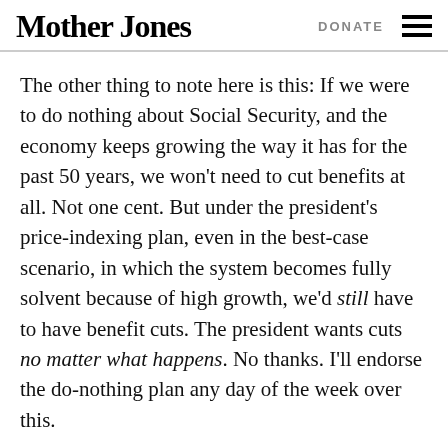Mother Jones | DONATE
The other thing to note here is this: If we were to do nothing about Social Security, and the economy keeps growing the way it has for the past 50 years, we won't need to cut benefits at all. Not one cent. But under the president's price-indexing plan, even in the best-case scenario, in which the system becomes fully solvent because of high growth, we'd still have to have benefit cuts. The president wants cuts no matter what happens. No thanks. I'll endorse the do-nothing plan any day of the week over this.
FACT: Today, reader support makes up about two-